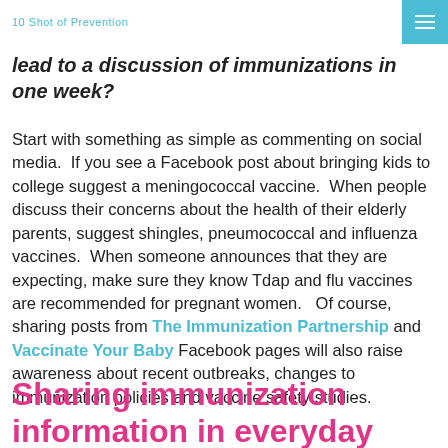10 Shot of Prevention [logo] [menu button]
lead to a discussion of immunizations in one week?
Start with something as simple as commenting on social media.  If you see a Facebook post about bringing kids to college suggest a meningococcal vaccine.  When people discuss their concerns about the health of their elderly parents, suggest shingles, pneumococcal and influenza vaccines.  When someone announces that they are expecting, make sure they know Tdap and flu vaccines are recommended for pregnant women.   Of course, sharing posts from The Immunization Partnership and Vaccinate Your Baby Facebook pages will also raise awareness about recent outbreaks, changes to immunization policies and vaccine safety studies.
Sharing immunization information in everyday